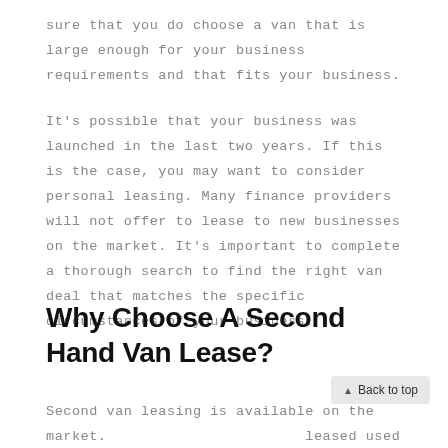sure that you do choose a van that is large enough for your business requirements and that fits your business.
It's possible that your business was launched in the last two years. If this is the case, you may want to consider personal leasing. Many finance providers will not offer to lease to new businesses on the market. It's important to complete a thorough search to find the right van deal that matches the specific circumstances of your business.
Why Choose A Second Hand Van Lease?
Second van leasing is available on the market. leased used vans, then you will be able to get a lease for a